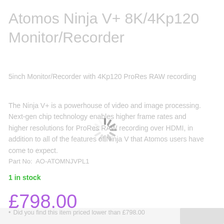Atomos Ninja V+ 8K/4Kp120 Monitor/Recorder
5inch Monitor/Recorder with 4Kp120 ProRes RAW recording
The Ninja V+ is a powerhouse of video and image processing. Next-gen chip technology enables higher frame rates and higher resolutions for ProRes RAW recording over HDMI, in addition to all of the features of Ninja V that Atomos users have come to expect.
Part No: AO-ATOMNJVPL1
1 in stock
£798.00
£665.00 ex VAT
Did you find this item priced lower than £798.00